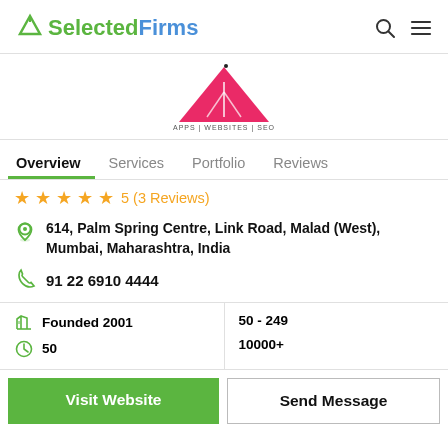SelectedFirms
[Figure (logo): Company logo: red/pink triangle with person silhouette, text APPS | WEBSITES | SEO below]
Overview  Services  Portfolio  Reviews
5 (3 Reviews)
614, Palm Spring Centre, Link Road, Malad (West), Mumbai, Maharashtra, India
91 22 6910 4444
Founded 2001
50 - 249
50
10000+
Visit Website
Send Message